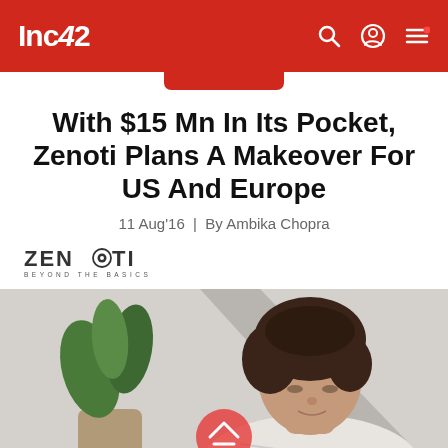Inc42
With $15 Mn In Its Pocket, Zenoti Plans A Makeover For US And Europe
11 Aug'16 | By Ambika Chopra
[Figure (logo): Zenoti - Beyond The Basics logo]
[Figure (photo): Woman with short curly hair looking down, plant in background, wellness/salon context]